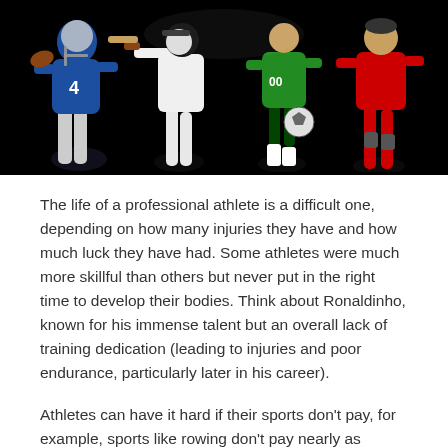[Figure (photo): Composite photo of multiple sports athletes on black background: a football player in blue uniform holding a ball, a baseball player in white uniform mid-swing, a soccer player in green uniform, a basketball player, and a player in red uniform, all overlapping against a black background.]
The life of a professional athlete is a difficult one, depending on how many injuries they have and how much luck they have had. Some athletes were much more skillful than others but never put in the right time to develop their bodies. Think about Ronaldinho, known for his immense talent but an overall lack of training dedication (leading to injuries and poor endurance, particularly later in his career).
Athletes can have it hard if their sports don't pay, for example, sports like rowing don't pay nearly as